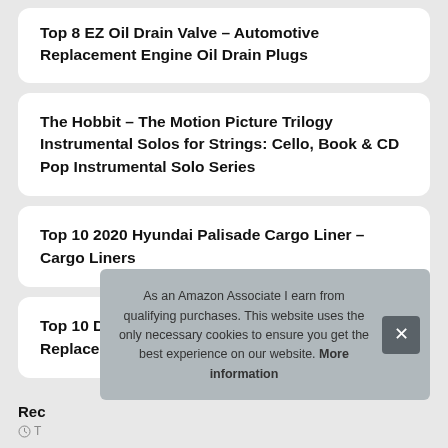Top 8 EZ Oil Drain Valve – Automotive Replacement Engine Oil Drain Plugs
The Hobbit – The Motion Picture Trilogy Instrumental Solos for Strings: Cello, Book & CD Pop Instrumental Solo Series
Top 10 2020 Hyundai Palisade Cargo Liner – Cargo Liners
Top 10 Deutsch Pins And Sockets – Automotive Replacement Electrical Accessories
Rec
As an Amazon Associate I earn from qualifying purchases. This website uses the only necessary cookies to ensure you get the best experience on our website. More information